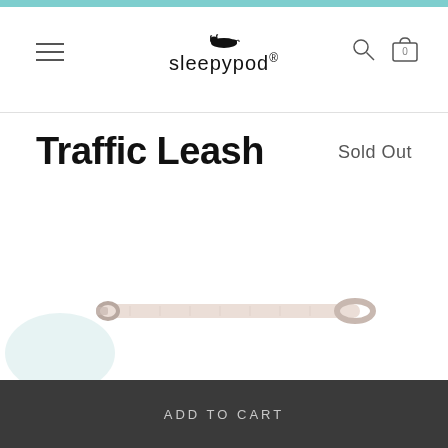sleepypod® — navigation header with hamburger menu, search, and cart (0 items)
Traffic Leash
Sold Out
[Figure (photo): A short dog traffic leash in light pink/white color shown horizontally against white background]
ADD TO CART